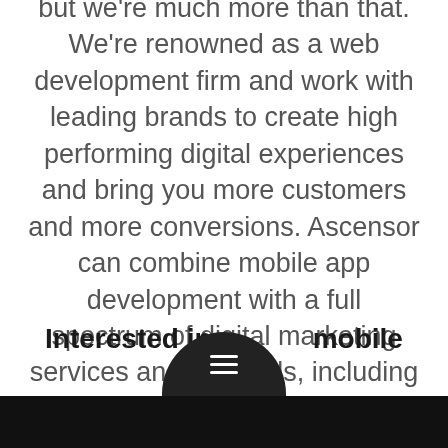but we're much more than that. We're renowned as a web development firm and work with leading brands to create high performing digital experiences and bring you more customers and more conversions. Ascensor can combine mobile app development with a full spectrum of digital marketing services and channels, including social media marketing, digital strategy, web design and web development.
Interested in our mobile app